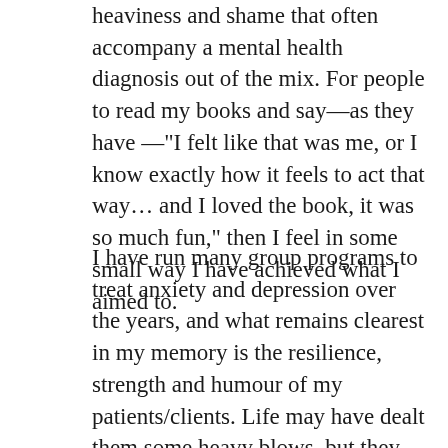heaviness and shame that often accompany a mental health diagnosis out of the mix. For people to read my books and say—as they have —"I felt like that was me, or I know exactly how it feels to act that way… and I loved the book, it was so much fun," then I feel in some small way I have achieved what I aimed to.
I have run many group programs to treat anxiety and depression over the years, and what remains clearest in my memory is the resilience, strength and humour of my patients/clients. Life may have dealt them some heavy blows, but they weren't defeated. They may have been admitted to an in-patient psychiatric ward, but that was not the sum of them. They were not their diagnosis. And they taught me more, I am sure, than I could ever